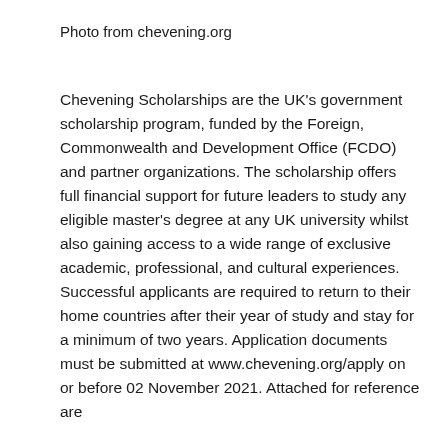Photo from chevening.org
Chevening Scholarships are the UK's government scholarship program, funded by the Foreign, Commonwealth and Development Office (FCDO) and partner organizations. The scholarship offers full financial support for future leaders to study any eligible master's degree at any UK university whilst also gaining access to a wide range of exclusive academic, professional, and cultural experiences. Successful applicants are required to return to their home countries after their year of study and stay for a minimum of two years. Application documents must be submitted at www.chevening.org/apply on or before 02 November 2021. Attached for reference are